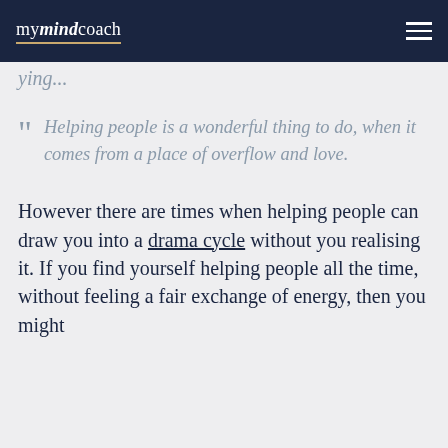mymindcoach
ying...
"Helping people is a wonderful thing to do, when it comes from a place of overflow and love.
However there are times when helping people can draw you into a drama cycle without you realising it. If you find yourself helping people all the time, without feeling a fair exchange of energy, then you might